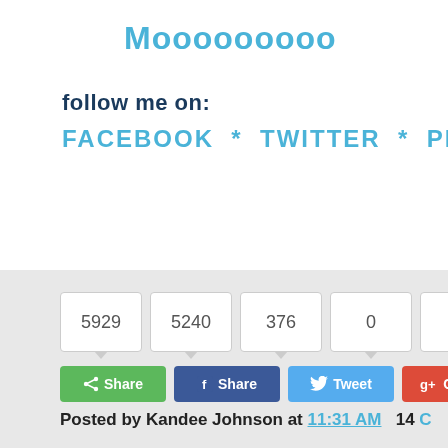Mooooooooo
follow me on:
FACEBOOK * TWITTER * PINTERE
[Figure (screenshot): Social sharing bar with share counts (5929, 5240, 376, 0, 0, 0) and buttons: Share (green), Share (Facebook blue), Tweet (Twitter blue), Google+ (red), Pin (Pinterest red), Tum (Tumblr dark)]
Posted by Kandee Johnson at 11:31 AM  14 C